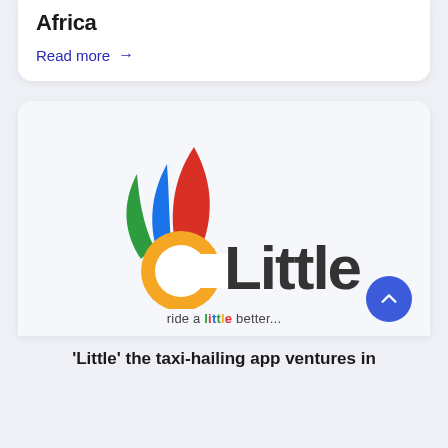Africa
Read more →
[Figure (logo): Little ride-hailing app logo: colorful feather/flame shape in green, blue, red above a yellow circular arc, with 'Little' in dark bold text and tagline 'ride a little better...' below]
'Little' the taxi-hailing app ventures in